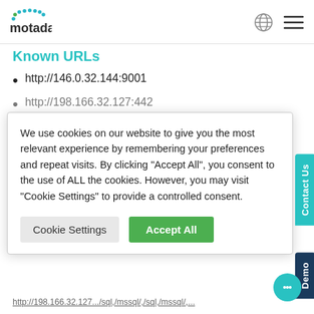[Figure (logo): Motadata logo with blue and green dots above the text 'motadata']
Known URLs
http://146.0.32.144:9001
http://198.166.32.127:442
We use cookies on our website to give you the most relevant experience by remembering your preferences and repeat visits. By clicking “Accept All”, you consent to the use of ALL the cookies. However, you may visit “Cookie Settings” to provide a controlled consent.
Cookie Settings  Accept All
.stw, .3ds, .odp, .sxd, .std, .dbf, .odb, .m